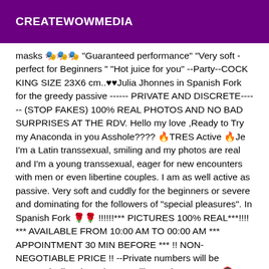CREATEWOWMEDIA
masks 🎭🎭🎭 "Guaranteed performance" "Very soft - perfect for Beginners " "Hot juice for you" --Party--COCK KING SIZE 23X6 cm..♥♥Julia Jhonnes in Spanish Fork for the greedy passive ------ PRIVATE AND DISCRETE------ (STOP FAKES) 100% REAL PHOTOS AND NO BAD SURPRISES AT THE RDV. Hello my love ,Ready to Try my Anaconda in you Asshole???? 🔥TRES Active 🔥Je I'm a Latin transsexual, smiling and my photos are real and I'm a young transsexual, eager for new encounters with men or even libertine couples. I am as well active as passive. Very soft and cuddly for the beginners or severe and dominating for the followers of "special pleasures". In Spanish Fork 🌹🌹 !!!!!!*** PICTURES 100% REAL***!!!! *** AVAILABLE FROM 10:00 AM TO 00:00 AM *** APPOINTMENT 30 MIN BEFORE *** !! NON-NEGOTIABLE PRICE !! --Private numbers will be automatically rejected . --Just like useless SMS--. 🔞 I propose you to live -- something else -- an intense